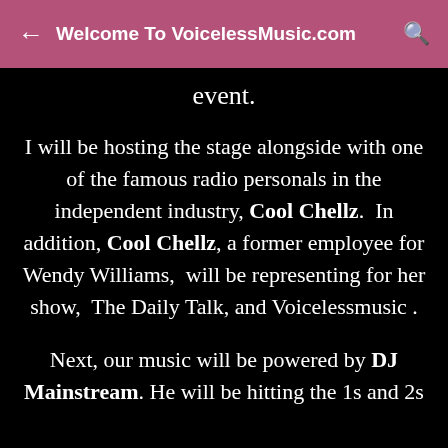Welcome To VoicelessMusic.com
event.
I will be hosting the stage alongside with one of the famous radio personals in the independent industry, Cool Chellz.  In addition, Cool Chellz, a former employee for Wendy Williams,  will be representing for her show,  The Daily Talk, and Voicelessmusic .
Next, our music will be powered by DJ Mainstream. He will be hitting the 1s and 2s